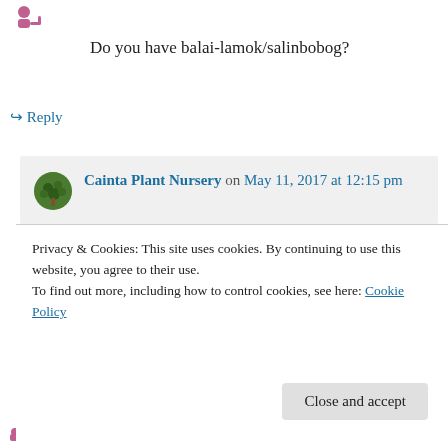[Figure (illustration): Pink/purple person icon at top left]
Do you have balai-lamok/salinbobog?
↳ Reply
Cainta Plant Nursery on May 11, 2017 at 12:15 pm
Hi Alrico!
Regarding your inquiry, we have sent an availability list to your email. 🙂
Privacy & Cookies: This site uses cookies. By continuing to use this website, you agree to their use.
To find out more, including how to control cookies, see here: Cookie Policy
Close and accept